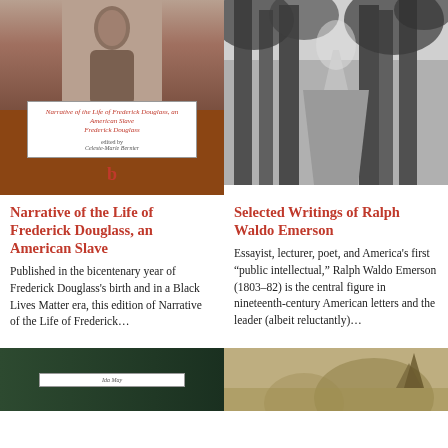[Figure (photo): Book cover of Narrative of the Life of Frederick Douglass, an American Slave, showing a portrait photo and red/brown cover with white label. Edited by Celeste-Marie Bernier.]
[Figure (photo): Black and white photograph of a forest path through tall trees.]
Narrative of the Life of Frederick Douglass, an American Slave
Published in the bicentenary year of Frederick Douglass's birth and in a Black Lives Matter era, this edition of Narrative of the Life of Frederick...
Selected Writings of Ralph Waldo Emerson
Essayist, lecturer, poet, and America's first “public intellectual,” Ralph Waldo Emerson (1803–82) is the central figure in nineteenth-century American letters and the leader (albeit reluctantly)...
[Figure (photo): Book cover with dark green background and white label, partially visible at bottom of page.]
[Figure (photo): Sepia/vintage landscape photograph, partially visible at bottom of page.]